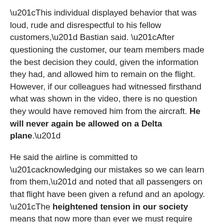“This individual displayed behavior that was loud, rude and disrespectful to his fellow customers,” Bastian said. “After questioning the customer, our team members made the best decision they could, given the information they had, and allowed him to remain on the flight. However, if our colleagues had witnessed firsthand what was shown in the video, there is no question they would have removed him from the aircraft. He will never again be allowed on a Delta plane.”
He said the airline is committed to “acknowledging our mistakes so we can learn from them,” and noted that all passengers on that flight have been given a refund and an apology. “The heightened tension in our society means that now more than ever we must require civility on our planes and in our facilities.”
Still, you have to wonder – what would Delta have done in the absence of a viral video of the incident? What would you have done if you witnessed